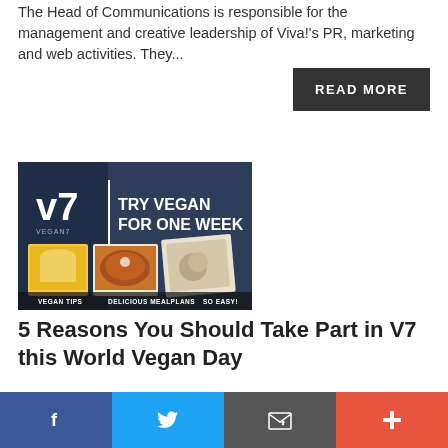The Head of Communications is responsible for the management and creative leadership of Viva!'s PR, marketing and web activities. They...
READ MORE
[Figure (photo): V7 Vegan7 promotional image showing 'Try Vegan For One Week' with photos of vegan meals and text: Vegan Tips, Delicious Mealplans, So Easy!]
5 Reasons You Should Take Part in V7 this World Vegan Day
Louisa Kendal | 30/10/2020
World Vegan Day is the perfect time to start V7, our 7-day vegan challenge! Here's why......